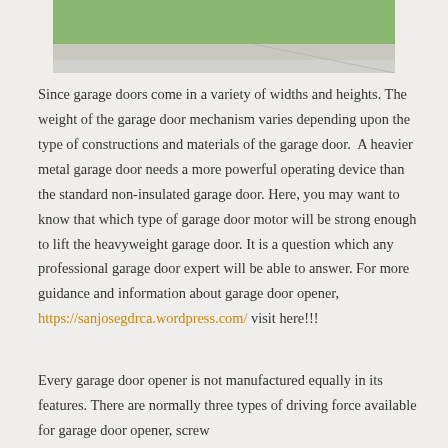[Figure (photo): Partial photo of a driveway with green grass and concrete road surface visible]
Since garage doors come in a variety of widths and heights. The weight of the garage door mechanism varies depending upon the type of constructions and materials of the garage door.  A heavier metal garage door needs a more powerful operating device than the standard non-insulated garage door. Here, you may want to know that which type of garage door motor will be strong enough to lift the heavyweight garage door. It is a question which any professional garage door expert will be able to answer. For more guidance and information about garage door opener, https://sanjosegdrca.wordpress.com/ visit here!!!
Every garage door opener is not manufactured equally in its features. There are normally three types of driving force available for garage door opener, screw drive, chain drive, and belt drive.